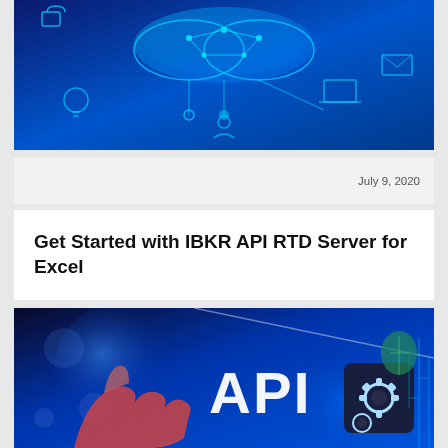[Figure (illustration): Blue digital technology banner with cloud computing brain, network icons, lightbulb, laptop, email, and human figure silhouettes on dark blue background]
July 9, 2020
Get Started with IBKR API RTD Server for Excel
[Figure (illustration): Blue technology background with a hand pointing at the word API in large white letters, with a gear/settings icon on a dark square, and circuit board patterns]